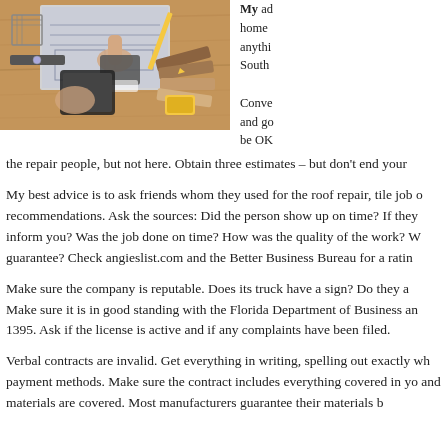[Figure (photo): Overhead view of a person in a suit pointing at architectural blueprints on a wooden desk, surrounded by wood flooring samples, a tablet, pencils, measuring tape, and other construction/design tools.]
My advice home anything South
Conve and go be OK
the repair people, but not here. Obtain three estimates – but don't end your
My best advice is to ask friends whom they used for the roof repair, tile job o recommendations. Ask the sources: Did the person show up on time? If they inform you? Was the job done on time? How was the quality of the work? W guarantee? Check angieslist.com and the Better Business Bureau for a ratin
Make sure the company is reputable. Does its truck have a sign? Do they a Make sure it is in good standing with the Florida Department of Business an 1395. Ask if the license is active and if any complaints have been filed.
Verbal contracts are invalid. Get everything in writing, spelling out exactly wh payment methods. Make sure the contract includes everything covered in yo and materials are covered. Most manufacturers guarantee their materials b